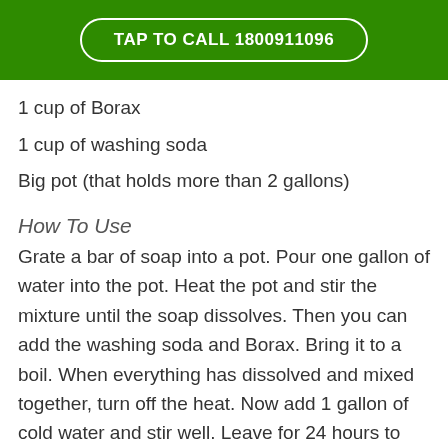TAP TO CALL 1800911096
1 cup of Borax
1 cup of washing soda
Big pot (that holds more than 2 gallons)
How To Use
Grate a bar of soap into a pot. Pour one gallon of water into the pot. Heat the pot and stir the mixture until the soap dissolves. Then you can add the washing soda and Borax. Bring it to a boil. When everything has dissolved and mixed together, turn off the heat. Now add 1 gallon of cold water and stir well. Leave for 24 hours to cool down and thicken up. Now you have 2 gallons of homemade laundry detergent. If